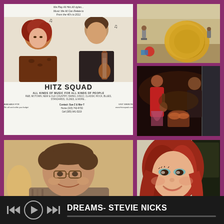[Figure (photo): Hitz Squad promotional flyer showing woman with red hair and man playing guitar, with text 'HITZ SQUAD - ALL KINDS OF MUSIC FOR ALL KINDS OF PEOPLE', contact info for Sue-Z & Mar-T]
[Figure (photo): Photo showing a large golden musical instrument (tuba/horn) in foreground with people and wheelchairs visible in background]
[Figure (photo): Band performance photo showing musicians playing instruments including drums/bongos in a dimly lit venue]
[Figure (photo): Portrait of a middle-aged man with glasses and brown hair, smiling]
[Figure (photo): Portrait of a woman with red/auburn hair, heavy eye makeup, smiling]
DREAMS- STEVIE NICKS